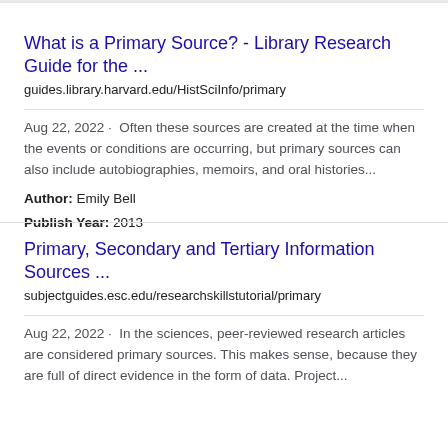What is a Primary Source? - Library Research Guide for the ...
guides.library.harvard.edu/HistSciInfo/primary
Aug 22, 2022 · Often these sources are created at the time when the events or conditions are occurring, but primary sources can also include autobiographies, memoirs, and oral histories...
Author: Emily Bell
Publish Year: 2013
Primary, Secondary and Tertiary Information Sources ...
subjectguides.esc.edu/researchskillstutorial/primary
Aug 22, 2022 · In the sciences, peer-reviewed research articles are considered primary sources. This makes sense, because they are full of direct evidence in the form of data. Project...